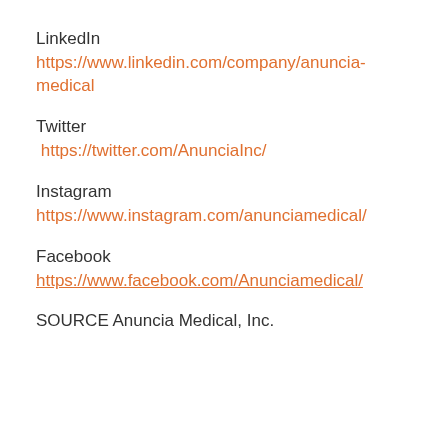LinkedIn
https://www.linkedin.com/company/anuncia-medical
Twitter
https://twitter.com/AnunciaInc/
Instagram
https://www.instagram.com/anunciamedical/
Facebook
https://www.facebook.com/Anunciamedical/
SOURCE Anuncia Medical, Inc.